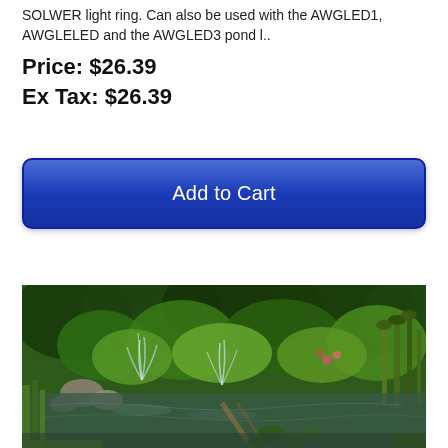SOLWER light ring. Can also be used with the AWGLED1, AWGLELED and the AWGLED3 pond l..
Price: $26.39
Ex Tax: $26.39
[Figure (other): Add to Cart button — blue gradient rounded rectangle button with white text]
[Figure (photo): Outdoor garden pond with fountains, lily pads, aquatic plants, rocks, and lush green trees in the background]